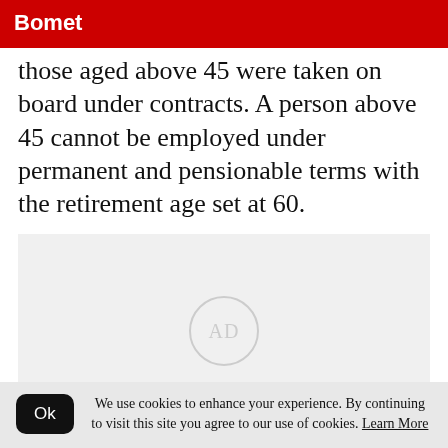Bomet
those aged above 45 were taken on board under contracts. A person above 45 cannot be employed under permanent and pensionable terms with the retirement age set at 60.
[Figure (other): Advertisement placeholder box with 'AD' label in a circle]
We use cookies to enhance your experience. By continuing to visit this site you agree to our use of cookies. Learn More